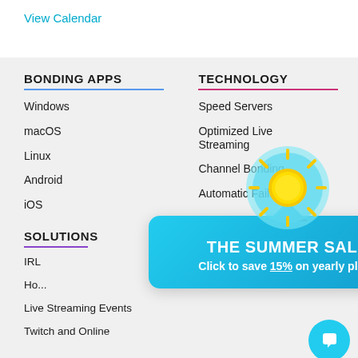View Calendar
BONDING APPS
Windows
macOS
Linux
Android
iOS
TECHNOLOGY
Speed Servers
Optimized Live Streaming
Channel Bonding
Automatic Failover
SOLUTIONS
COMPANY
IRL
Ho...
Live Streaming Events
Blog
Twitch and Online
Press Center
[Figure (infographic): Summer sale popup with sun icon and text: THE SUMMER SALE - Click to save 15% on yearly plans]